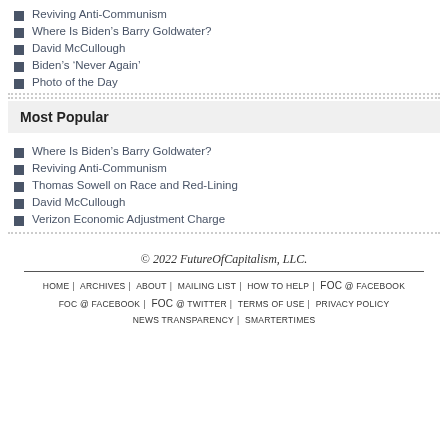Reviving Anti-Communism
Where Is Biden's Barry Goldwater?
David McCullough
Biden's 'Never Again'
Photo of the Day
Most Popular
Where Is Biden's Barry Goldwater?
Reviving Anti-Communism
Thomas Sowell on Race and Red-Lining
David McCullough
Verizon Economic Adjustment Charge
© 2022 FutureOfCapitalism, LLC.
HOME | ARCHIVES | ABOUT | MAILING LIST | HOW TO HELP | FoC @ FACEBOOK | FoC @ TWITTER | TERMS OF USE | PRIVACY POLICY NEWS TRANSPARENCY | SMARTERTIMES